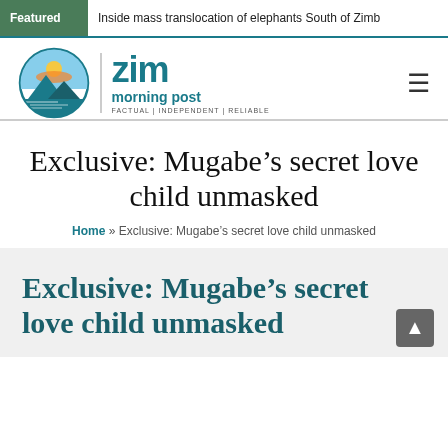Featured | Inside mass translocation of elephants South of Zimb
[Figure (logo): Zim Morning Post logo: circular icon with sun and mountains, with text 'zim morning post' and tagline 'FACTUAL | INDEPENDENT | RELIABLE']
Exclusive: Mugabe’s secret love child unmasked
Home » Exclusive: Mugabe’s secret love child unmasked
Exclusive: Mugabe’s secret love child unmasked